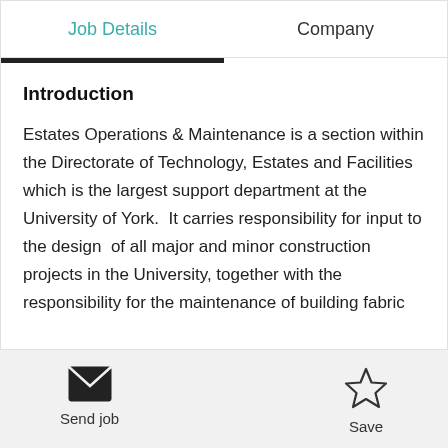Job Details
Company
Introduction
Estates Operations & Maintenance is a section within the Directorate of Technology, Estates and Facilities which is the largest support department at the University of York.  It carries responsibility for input to the design  of all major and minor construction projects in the University, together with the responsibility for the maintenance of building fabric
Send job
Save